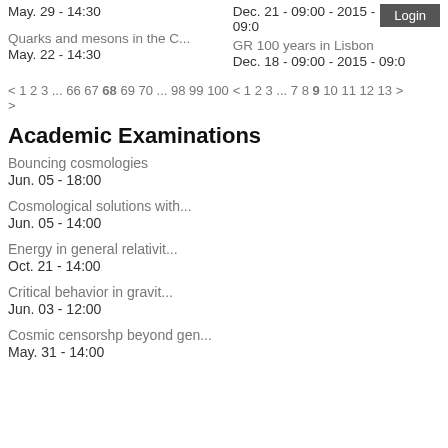May. 29 - 14:30
Dec. 21 - 09:00 - 2015 - 09:00
Login
Quarks and mesons in the C...
May. 22 - 14:30
GR 100 years in Lisbon
Dec. 18 - 09:00 - 2015 - 09:0
< 1 2 3 ... 66 67 68 69 70 ... 98 99 100 >
< 1 2 3 ... 7 8 9 10 11 12 13 >
Academic Examinations
Bouncing cosmologies
Jun. 05 - 18:00
Cosmological solutions with...
Jun. 05 - 14:00
Energy in general relativit...
Oct. 21 - 14:00
Critical behavior in gravit...
Jun. 03 - 12:00
Cosmic censorshp beyond gen...
May. 31 - 14:00